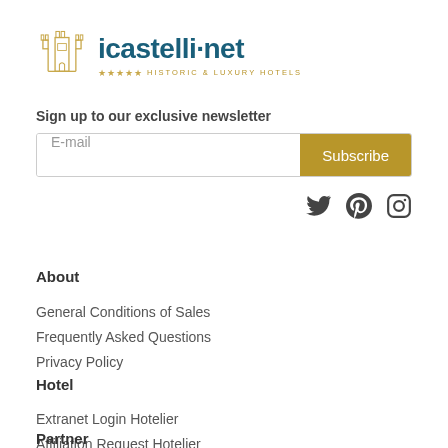[Figure (logo): icastelli.net Historic & Luxury Hotels logo with castle icon]
Sign up to our exclusive newsletter
E-mail
Subscribe
[Figure (infographic): Social media icons: Twitter, Pinterest, Instagram]
About
General Conditions of Sales
Frequently Asked Questions
Privacy Policy
Hotel
Extranet Login Hotelier
Affiliation Request Hotelier
Partner